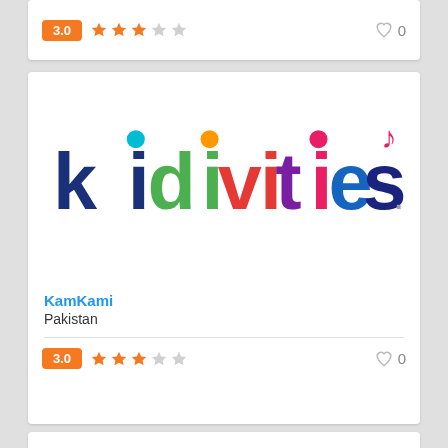[Figure (other): Top card partial view showing 3.0 star rating and heart icon with 0]
[Figure (logo): kidivities.com colorful logo with cartoon figures and musical note]
KamKami
Pakistan
3.0 ★★★☆☆  ♡ 0